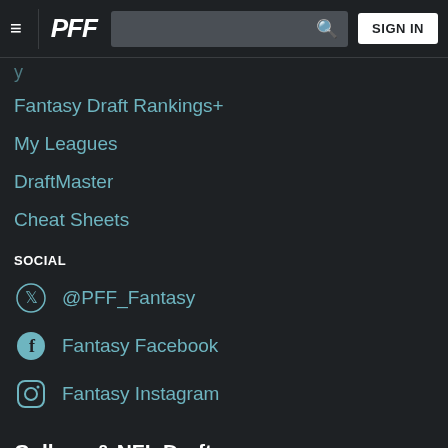PFF | SIGN IN
Fantasy Draft Rankings+
My Leagues
DraftMaster
Cheat Sheets
SOCIAL
@PFF_Fantasy
Fantasy Facebook
Fantasy Instagram
College & NFL Draft
College Home
NFL Draft Home
COLLEGE TOOLS
NCAA Scores
NCAA Premium Stats